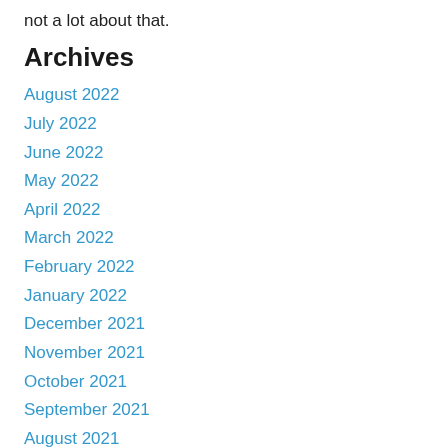not a lot about that.
Archives
August 2022
July 2022
June 2022
May 2022
April 2022
March 2022
February 2022
January 2022
December 2021
November 2021
October 2021
September 2021
August 2021
July 2021
June 2021
May 2021
April 2021
March 2021